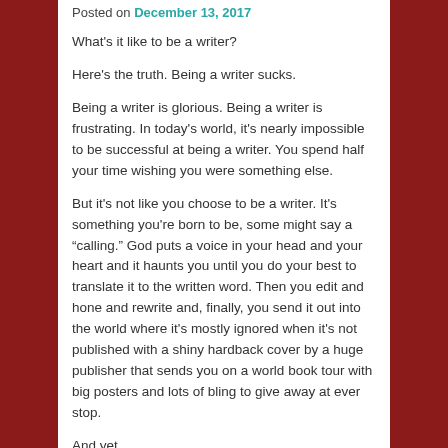Posted on December 13, 2017
What's it like to be a writer?
Here's the truth. Being a writer sucks.
Being a writer is glorious. Being a writer is frustrating. In today's world, it's nearly impossible to be successful at being a writer. You spend half your time wishing you were something else.
But it's not like you choose to be a writer. It's something you're born to be, some might say a “calling.” God puts a voice in your head and your heart and it haunts you until you do your best to translate it to the written word. Then you edit and hone and rewrite and, finally, you send it out into the world where it's mostly ignored when it's not published with a shiny hardback cover by a huge publisher that sends you on a world book tour with big posters and lots of bling to give away at ever stop.
And yet.